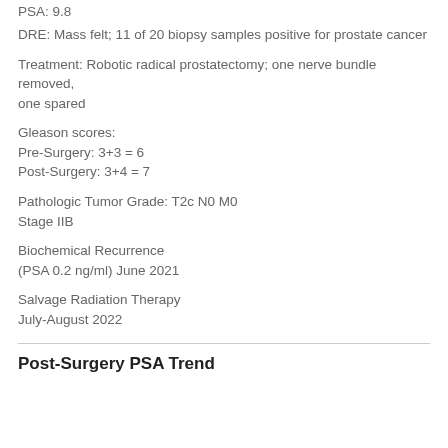PSA: 9.8
DRE: Mass felt; 11 of 20 biopsy samples positive for prostate cancer
Treatment: Robotic radical prostatectomy; one nerve bundle removed, one spared
Gleason scores:
Pre-Surgery: 3+3 = 6
Post-Surgery: 3+4 = 7
Pathologic Tumor Grade: T2c N0 M0
Stage IIB
Biochemical Recurrence
(PSA 0.2 ng/ml) June 2021
Salvage Radiation Therapy
July-August 2022
Post-Surgery PSA Trend